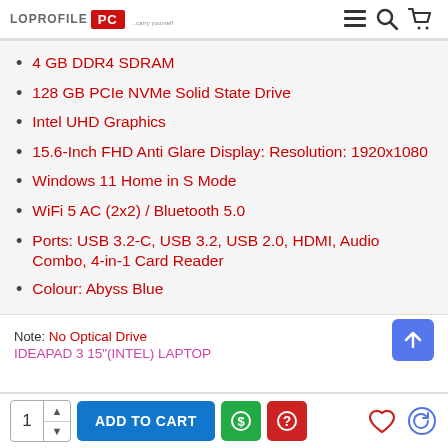LOPROFILE PC
4 GB DDR4 SDRAM
128 GB PCIe NVMe Solid State Drive
Intel UHD Graphics
15.6-Inch FHD Anti Glare Display: Resolution: 1920x1080
Windows 11 Home in S Mode
WiFi 5 AC (2x2) / Bluetooth 5.0
Ports: USB 3.2-C, USB 3.2, USB 2.0, HDMI, Audio Combo, 4-in-1 Card Reader
Colour: Abyss Blue
Note: No Optical Drive
IDEAPAD 3 15"(INTEL) LAPTOP